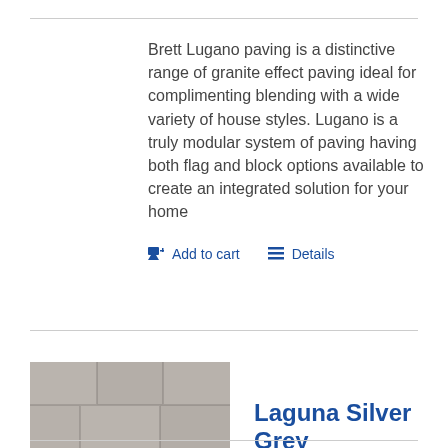Brett Lugano paving is a distinctive range of granite effect paving ideal for complimenting blending with a wide variety of house styles. Lugano is a truly modular system of paving having both flag and block options available to create an integrated solution for your home
Add to cart   Details
[Figure (photo): Silver grey stone paving tiles product image]
Laguna Silver Grey